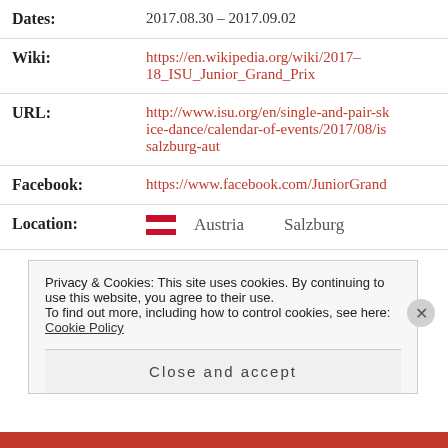| Dates: | 2017.08.30 – 2017.09.02 |
| Wiki: | https://en.wikipedia.org/wiki/2017–18_ISU_Junior_Grand_Prix |
| URL: | http://www.isu.org/en/single-and-pair-sk­ice-dance/calendar-of-events/2017/08/is­salzburg-aut |
| Facebook: | https://www.facebook.com/JuniorGrand­Prix |
| Location: | Austria   Salzburg |
Privacy & Cookies: This site uses cookies. By continuing to use this website, you agree to their use.
To find out more, including how to control cookies, see here: Cookie Policy
Close and accept